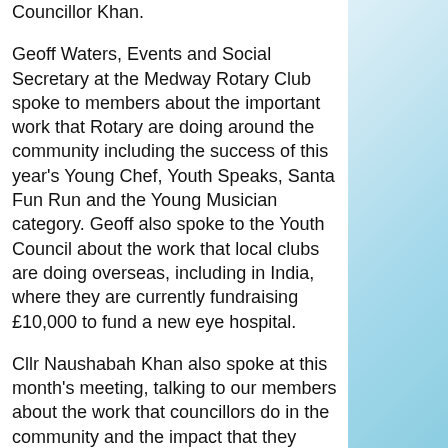Councillor Khan.
Geoff Waters, Events and Social Secretary at the Medway Rotary Club spoke to members about the important work that Rotary are doing around the community including the success of this year's Young Chef, Youth Speaks, Santa Fun Run and the Young Musician category. Geoff also spoke to the Youth Council about the work that local clubs are doing overseas, including in India, where they are currently fundraising £10,000 to fund a new eye hospital.
Cllr Naushabah Khan also spoke at this month's meeting, talking to our members about the work that councillors do in the community and the impact that they have on local people. Members were given the opportunity to ask Cllr Khan about the work that she has carried out in the community and how in the future the